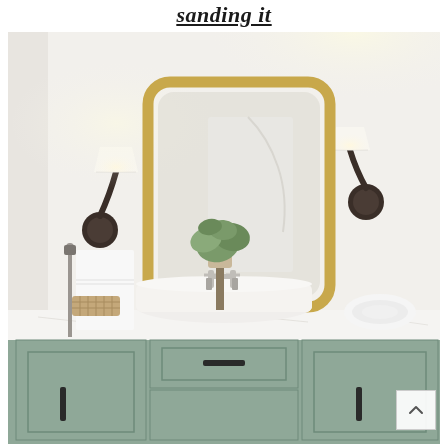sanding it
[Figure (photo): Interior bathroom photo showing a sage green vanity with white vessel sink, chrome bridge faucet, gold-framed rounded rectangular mirror, two wall sconce lights with white shades and bronze fixtures, a small potted olive plant, white hand towels, and a rolled white towel on white marble countertop. The walls are white/light gray.]